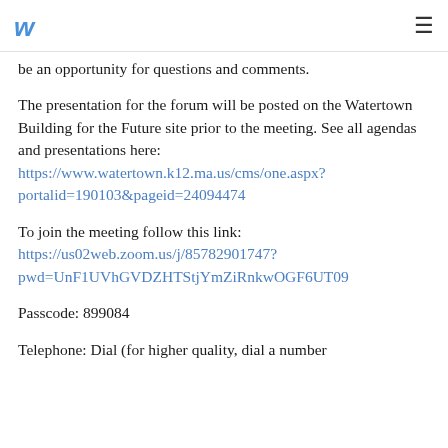w ≡
be an opportunity for questions and comments.
The presentation for the forum will be posted on the Watertown Building for the Future site prior to the meeting. See all agendas and presentations here: https://www.watertown.k12.ma.us/cms/one.aspx?portalid=190103&pageid=24094474
To join the meeting follow this link: https://us02web.zoom.us/j/85782901747?pwd=UnF1UVhGVDZHTStjYmZiRnkwOGF6UT09
Passcode: 899084
Telephone: Dial (for higher quality, dial a number